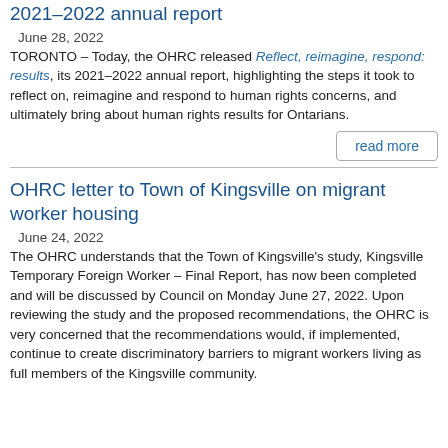2021–2022 annual report
June 28, 2022
TORONTO – Today, the OHRC released Reflect, reimagine, respond: results, its 2021–2022 annual report, highlighting the steps it took to reflect on, reimagine and respond to human rights concerns, and ultimately bring about human rights results for Ontarians.
read more
OHRC letter to Town of Kingsville on migrant worker housing
June 24, 2022
The OHRC understands that the Town of Kingsville's study, Kingsville Temporary Foreign Worker – Final Report, has now been completed and will be discussed by Council on Monday June 27, 2022. Upon reviewing the study and the proposed recommendations, the OHRC is very concerned that the recommendations would, if implemented, continue to create discriminatory barriers to migrant workers living as full members of the Kingsville community.